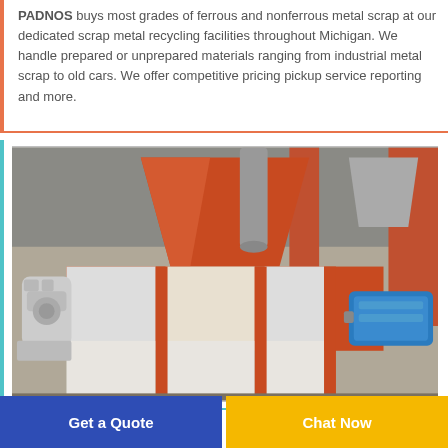PADNOS buys most grades of ferrous and nonferrous metal scrap at our dedicated scrap metal recycling facilities throughout Michigan. We handle prepared or unprepared materials ranging from industrial metal scrap to old cars. We offer competitive pricing pickup service reporting and more.
[Figure (photo): Industrial scrap metal shredder machine with orange/red frame, white hopper, blue electric motor on right side, and gray dust collection system on top. Photographed in an industrial facility.]
Get a Quote
Chat Now